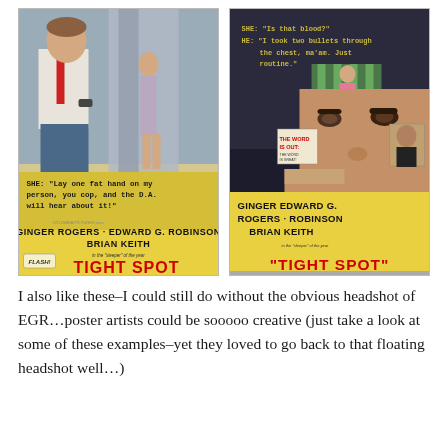[Figure (photo): Two vintage movie posters for 'Tight Spot' featuring Ginger Rogers, Edward G. Robinson, and Brian Keith. Left poster shows a man with a gun and a woman hiding behind a curtain with text 'SHE: Lay one fat hand on my person, you cop, and the D.A. will hear about it!' Right poster shows Edward G. Robinson close-up with a woman in pink and text 'SHE: Is that blood? HE: I took two bullets through the chest, ma'am. Just routine.']
I also like these–I could still do without the obvious headshot of EGR…poster artists could be sooooo creative (just take a look at some of these examples–yet they loved to go back to that floating headshot well…)